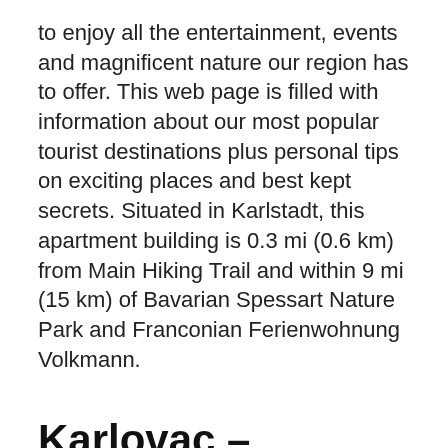to enjoy all the entertainment, events and magnificent nature our region has to offer. This web page is filled with information about our most popular tourist destinations plus personal tips on exciting places and best kept secrets. Situated in Karlstadt, this apartment building is 0.3 mi (0.6 km) from Main Hiking Trail and within 9 mi (15 km) of Bavarian Spessart Nature Park and Franconian Ferienwohnung Volkmann.
Karlovac – Wikipedia
Karlstad Tourism: Tripadvisor has 14,548 reviews of Karlstad Hotels, Attractions, and Restaurants making it your best Karlstad resource. All things to do in Karlstad Commonly Searched For in Karlstad